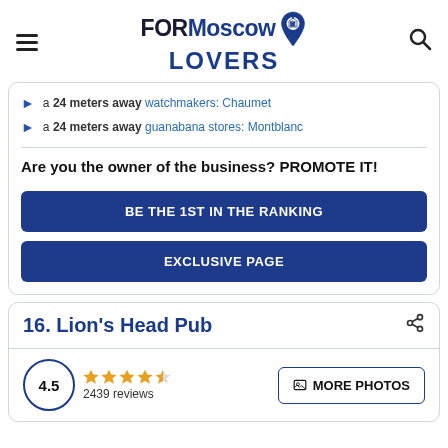FORMoscow LOVERS
a 24 meters away watchmakers: Chaumet
a 24 meters away guanabana stores: Montblanc
Are you the owner of the business? PROMOTE IT!
BE THE 1ST IN THE RANKING
EXCLUSIVE PAGE
16. Lion's Head Pub
4.5  2439 reviews  MORE PHOTOS